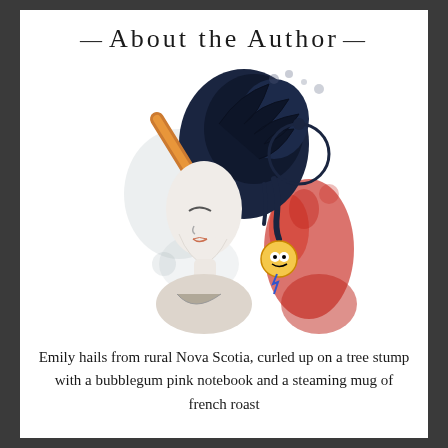About the Author
[Figure (illustration): Watercolor illustration of a woman in profile facing left, with a unicorn horn, dark blue/black hair with a crow, tattoos, and bold red watercolor splashes on the right side.]
Emily hails from rural Nova Scotia, curled up on a tree stump with a bubblegum pink notebook and a steaming mug of french roast